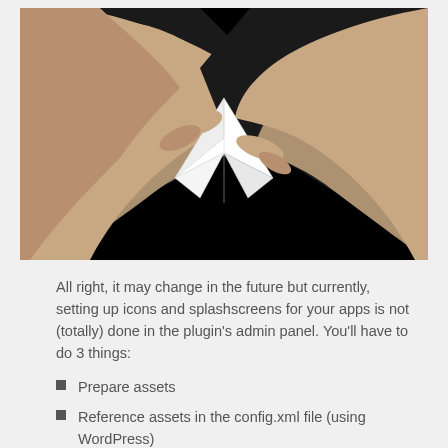[Figure (photo): Two hands holding and folding a white paper airplane against a black background]
All right, it may change in the future but currently, setting up icons and splashscreens for your apps is not (totally) done in the plugin's admin panel. You'll have to do 3 things:
Prepare assets
Reference assets in the config.xml file (using WordPress)